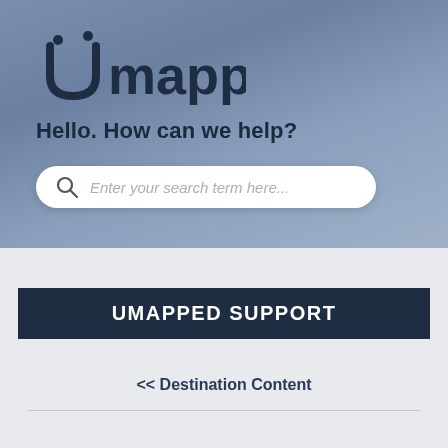[Figure (logo): UMapped logo — stylized 'U' with dots forming a smiley/pin shape, followed by 'mapped' in dark text]
Hello. How can we help?
Enter your search term here...
UMAPPED SUPPORT
<< Destination Content